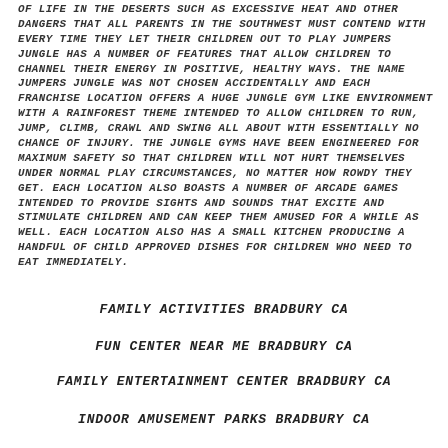OF LIFE IN THE DESERTS SUCH AS EXCESSIVE HEAT AND OTHER DANGERS THAT ALL PARENTS IN THE SOUTHWEST MUST CONTEND WITH EVERY TIME THEY LET THEIR CHILDREN OUT TO PLAY JUMPERS JUNGLE HAS A NUMBER OF FEATURES THAT ALLOW CHILDREN TO CHANNEL THEIR ENERGY IN POSITIVE, HEALTHY WAYS. THE NAME JUMPERS JUNGLE WAS NOT CHOSEN ACCIDENTALLY AND EACH FRANCHISE LOCATION OFFERS A HUGE JUNGLE GYM LIKE ENVIRONMENT WITH A RAINFOREST THEME INTENDED TO ALLOW CHILDREN TO RUN, JUMP, CLIMB, CRAWL AND SWING ALL ABOUT WITH ESSENTIALLY NO CHANCE OF INJURY. THE JUNGLE GYMS HAVE BEEN ENGINEERED FOR MAXIMUM SAFETY SO THAT CHILDREN WILL NOT HURT THEMSELVES UNDER NORMAL PLAY CIRCUMSTANCES, NO MATTER HOW ROWDY THEY GET. EACH LOCATION ALSO BOASTS A NUMBER OF ARCADE GAMES INTENDED TO PROVIDE SIGHTS AND SOUNDS THAT EXCITE AND STIMULATE CHILDREN AND CAN KEEP THEM AMUSED FOR A WHILE AS WELL. EACH LOCATION ALSO HAS A SMALL KITCHEN PRODUCING A HANDFUL OF CHILD APPROVED DISHES FOR CHILDREN WHO NEED TO EAT IMMEDIATELY.
FAMILY ACTIVITIES BRADBURY CA
FUN CENTER NEAR ME BRADBURY CA
FAMILY ENTERTAINMENT CENTER BRADBURY CA
INDOOR AMUSEMENT PARKS BRADBURY CA